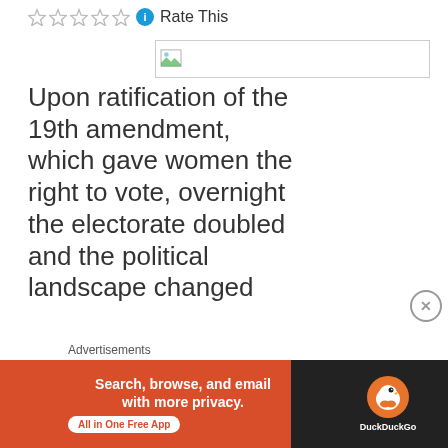Rate This
[Figure (screenshot): Image placeholder with broken image icon]
Upon ratification of the 19th amendment, which gave women the right to vote, overnight the electorate doubled and the political landscape changed
Advertisements
[Figure (screenshot): DuckDuckGo advertisement banner: Search, browse, and email with more privacy. All in One Free App]